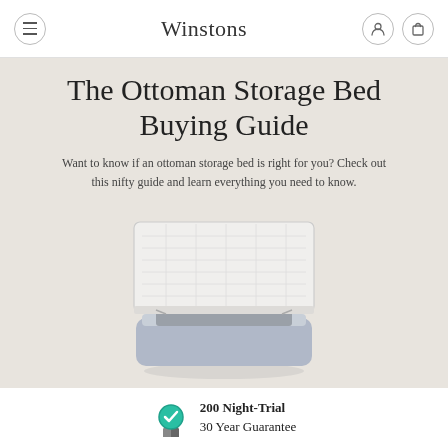Winstons
The Ottoman Storage Bed Buying Guide
Want to know if an ottoman storage bed is right for you? Check out this nifty guide and learn everything you need to know.
[Figure (illustration): Illustration of an ottoman storage bed with the mattress lifted up on hydraulic arms, revealing the storage space inside the base.]
200 Night-Trial
30 Year Guarantee